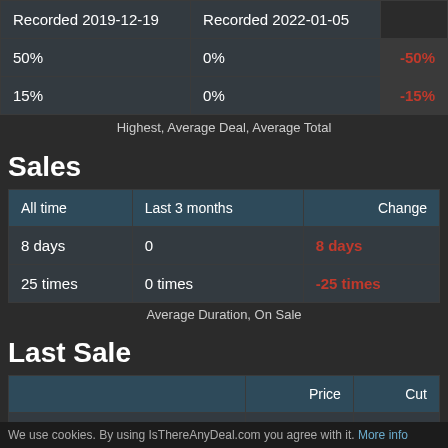| Recorded 2019-12-19 | Recorded 2022-01-05 |  |
| --- | --- | --- |
| 50% | 0% | -50% |
| 15% | 0% | -15% |
Highest, Average Deal, Average Total
Sales
| All time | Last 3 months | Change |
| --- | --- | --- |
| 8 days | 0 | 8 days |
| 25 times | 0 times | -25 times |
Average Duration, On Sale
Last Sale
|  | Price | Cut |
| --- | --- | --- |
| $5.99 | +$3.00 | -25% |
We use cookies. By using IsThereAnyDeal.com you agree with it. More info